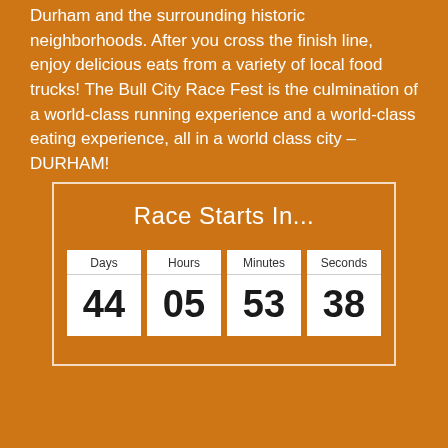Durham and the surrounding historic neighborhoods. After you cross the finish line, enjoy delicious eats from a variety of local food trucks!  The Bull City Race Fest is the culmination of a world-class running experience and a world-class eating experience, all in a world class city – DURHAM!
[Figure (infographic): Countdown timer widget titled 'Race Starts In...' showing Days: 44, Hours: 05, Minutes: 53, Seconds: 38 in white tile boxes with a bordered orange background.]